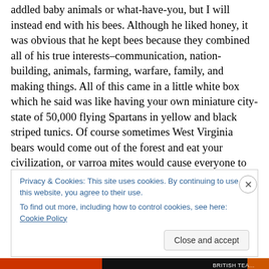addled baby animals or what-have-you, but I will instead end with his bees. Although he liked honey, it was obvious that he kept bees because they combined all of his true interests–communication, nation-building, animals, farming, warfare, family, and making things. All of this came in a little white box which he said was like having your own miniature city-state of 50,000 flying Spartans in yellow and black striped tunics. Of course sometimes West Virginia bears would come out of the forest and eat your civilization, or varroa mites would cause everyone to sicken and die, or the young queen would murder the old
Privacy & Cookies: This site uses cookies. By continuing to use this website, you agree to their use.
To find out more, including how to control cookies, see here: Cookie Policy
Close and accept